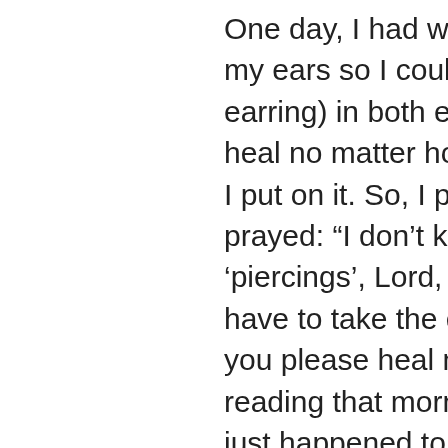One day, I had went to get a 2nd piercing in my ears so I could wear a hoop (and a stud earring) in both ears. One ear just would not heal no matter how much peroxide and salve I put on it. So, I proceeded to pray about it. I prayed: “I don’t know how you feel about ‘piercings’, Lord, but I really don’t want to have to take the earring out. I would ask that you please heal my ear.” During my Bible reading that morning, following my prayer, I just happened to be in Exodus 21, which read … “He shall take him